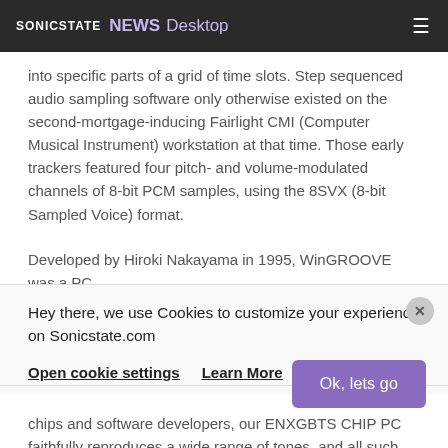SONICSTATE  NEWS  Desktop
into specific parts of a grid of time slots. Step sequenced audio sampling software only otherwise existed on the second-mortgage-inducing Fairlight CMI (Computer Musical Instrument) workstation at that time. Those early trackers featured four pitch- and volume-modulated channels of 8-bit PCM samples, using the 8SVX (8-bit Sampled Voice) format.
Developed by Hiroki Nakayama in 1995, WinGROOVE was a PC
Hey there, we use Cookies to customize your experience on Sonicstate.com
Open cookie settings   Learn More
Ok, lets go
chips and software developers, our ENXGBTS CHIP PC faithfully reproduces a wide range of tones, and all such sounds can be used